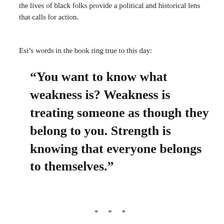the lives of black folks provide a political and historical lens that calls for action.
Esi’s words in the book ring true to this day:
“You want to know what weakness is? Weakness is treating someone as though they belong to you. Strength is knowing that everyone belongs to themselves.”
* * *